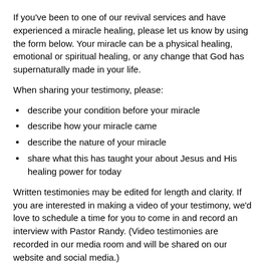If you've been to one of our revival services and have experienced a miracle healing, please let us know by using the form below. Your miracle can be a physical healing, emotional or spiritual healing, or any change that God has supernaturally made in your life.
When sharing your testimony, please:
describe your condition before your miracle
describe how your miracle came
describe the nature of your miracle
share what this has taught your about Jesus and His healing power for today
Written testimonies may be edited for length and clarity. If you are interested in making a video of your testimony, we'd love to schedule a time for you to come in and record an interview with Pastor Randy. (Video testimonies are recorded in our media room and will be shared on our website and social media.)